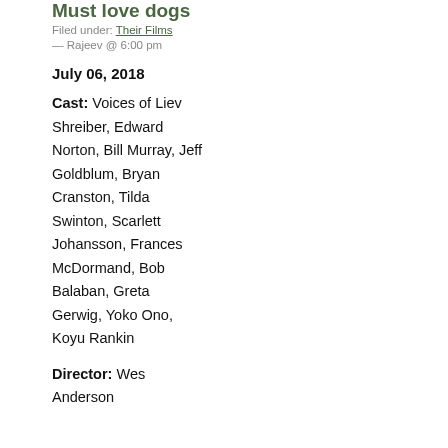Must love dogs
Filed under: Their Films
— Rajeev @ 6:00 pm
July 06, 2018
Cast: Voices of Liev Shreiber, Edward Norton, Bill Murray, Jeff Goldblum, Bryan Cranston, Tilda Swinton, Scarlett Johansson, Frances McDormand, Bob Balaban, Greta Gerwig, Yoko Ono, Koyu Rankin
Director: Wes Anderson